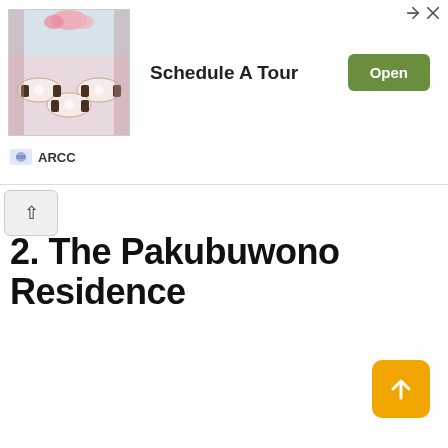[Figure (screenshot): Advertisement banner showing a banquet/wedding hall interior photo on the left, text 'Schedule A Tour' in the center, and a green 'Open' button on the right. ARCC sponsor logo at bottom.]
2. The Pakubuwono Residence